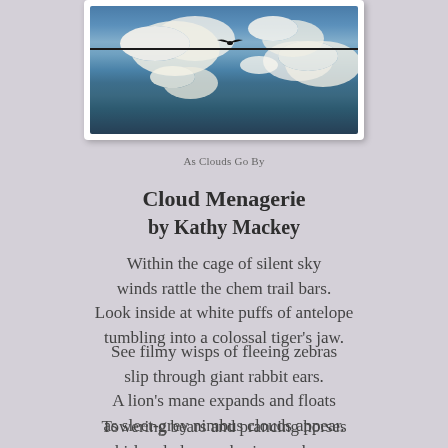[Figure (photo): Photograph of birds sitting on a wire against a blue sky with white clouds]
As Clouds Go By
Cloud Menagerie
by Kathy Mackey
Within the cage of silent sky
winds rattle the chem trail bars.
Look inside at white puffs of antelope
tumbling into a colossal tiger's jaw.
See filmy wisps of fleeing zebras
slip through giant rabbit ears.
A lion's mane expands and floats
as sleet-grey nimbus clouds appear.
Towering bears and prancing horses
whirl and plunge chasing sunbeams